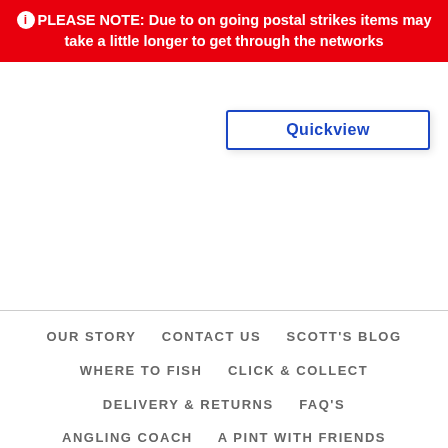PLEASE NOTE: Due to on going postal strikes items may take a little longer to get through the networks
[Figure (screenshot): Quickview button with blue border and blue text]
OUR STORY   CONTACT US   SCOTT'S BLOG   WHERE TO FISH   CLICK & COLLECT   DELIVERY & RETURNS   FAQ'S   ANGLING COACH   A PINT WITH FRIENDS   FREE DELIVERY   ON ORDERS WITH MINIMUM